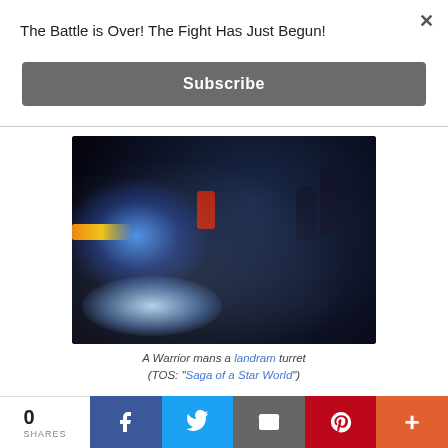The Battle is Over! The Fight Has Just Begun!
Subscribe
[Figure (photo): Dark nighttime scene of a Warrior manning a landram turret with blue and orange glowing lights, misty atmosphere, silhouettes of people in background]
A Warrior mans a landram turret (TOS: "Saga of a Star World")
0 SHARES